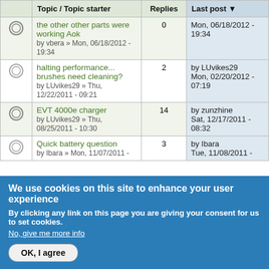|  | Topic / Topic starter | Replies | Last post |
| --- | --- | --- | --- |
| [icon] | the other other parts were working Aok
by vbera » Mon, 06/18/2012 - 19:34 | 0 | Mon, 06/18/2012 - 19:34 |
| [icon] | halting performance... brushes need cleaning?
by LUvikes29 » Thu, 12/22/2011 - 09:21 | 2 | by LUvikes29
Mon, 02/20/2012 - 07:19 |
| [icon] | EVT 4000e charger
by LUvikes29 » Thu, 08/25/2011 - 10:30 | 14 | by zunzhine
Sat, 12/17/2011 - 08:32 |
| [icon] | Quick battery question
by Ibara » Mon, 11/07/2011 - | 3 | by Ibara
Tue, 11/08/2011 - |
We use cookies on this site to enhance your user experience
By clicking any link on this page you are giving your consent for us to set cookies.
No, give me more info
OK, I agree